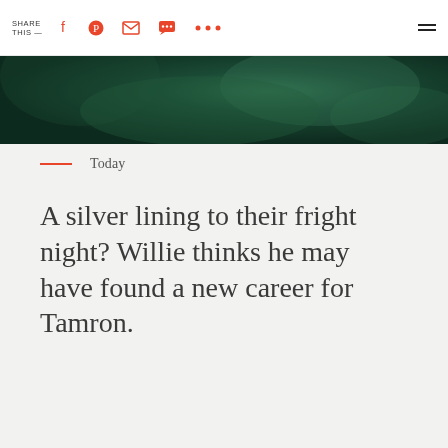SHARE THIS —
[Figure (photo): Dark green smoke or atmospheric background image, cropped banner]
Today
A silver lining to their fright night? Willie thinks he may have found a new career for Tamron.